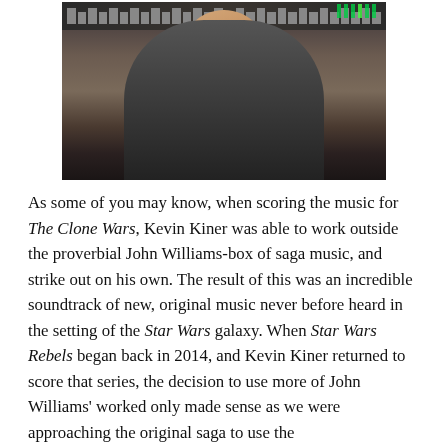[Figure (photo): A man (Kevin Kiner) smiling in a recording studio, seated in front of a large mixing console with faders and green level meters visible in the background.]
As some of you may know, when scoring the music for The Clone Wars, Kevin Kiner was able to work outside the proverbial John Williams-box of saga music, and strike out on his own. The result of this was an incredible soundtrack of new, original music never before heard in the setting of the Star Wars galaxy. When Star Wars Rebels began back in 2014, and Kevin Kiner returned to score that series, the decision to use more of John Williams' worked only made sense as we were approaching the original saga to use the